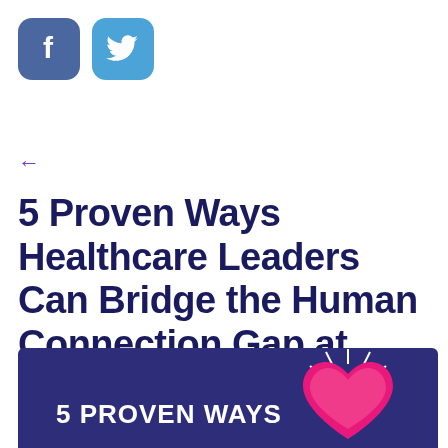[Figure (logo): Facebook and Twitter social media share buttons — rounded square icons]
← (back arrow)
5 Proven Ways Healthcare Leaders Can Bridge the Human Connection Gap at Their Organizations
[Figure (infographic): Dark navy infographic banner showing '5 PROVEN WAYS' text with a pink/magenta heart illustration with radiating lines on the right side]